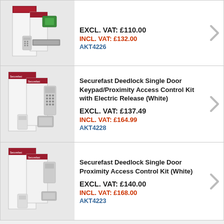[Figure (photo): Product photo of Securefast Deedlock access control kit with magnetic lock - boxes and hardware components]
EXCL. VAT: £110.00
INCL. VAT: £132.00
AKT4226
[Figure (photo): Product photo of Securefast Deedlock Single Door Keypad/Proximity Access Control Kit with Electric Release (White)]
Securefast Deedlock Single Door Keypad/Proximity Access Control Kit with Electric Release (White)
EXCL. VAT: £137.49
INCL. VAT: £164.99
AKT4228
[Figure (photo): Product photo of Securefast Deedlock Single Door Proximity Access Control Kit (White)]
Securefast Deedlock Single Door Proximity Access Control Kit (White)
EXCL. VAT: £140.00
INCL. VAT: £168.00
AKT4223